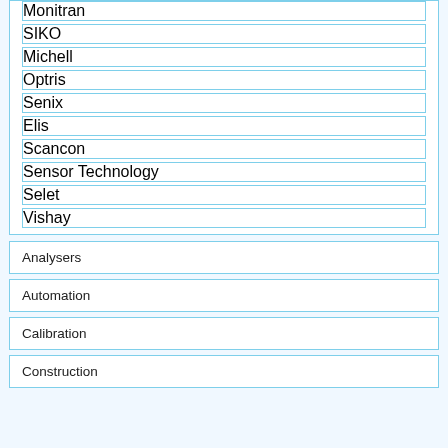Monitran
SIKO
Michell
Optris
Senix
Elis
Scancon
Sensor Technology
Selet
Vishay
Analysers
Automation
Calibration
Construction